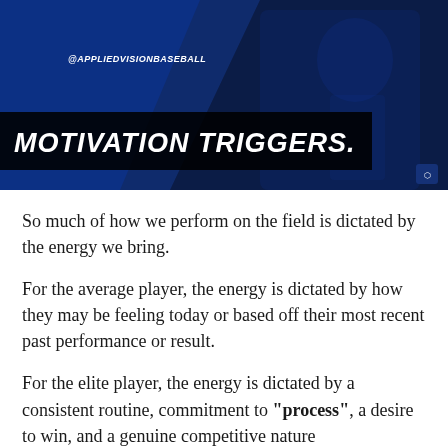[Figure (photo): A baseball player in a blue Cubs uniform running, overlaid with a blue tinted dark filter. The text '@APPLIEDVISIONBASEBALL' appears at the top left in white italic bold. A black banner across the lower portion reads 'MOTIVATION TRIGGERS.' in large white bold italic uppercase letters. A small shield logo appears at the bottom right.]
So much of how we perform on the field is dictated by the energy we bring.
For the average player, the energy is dictated by how they may be feeling today or based off their most recent past performance or result.
For the elite player, the energy is dictated by a consistent routine, commitment to "process", a desire to win, and a genuine competitive nature